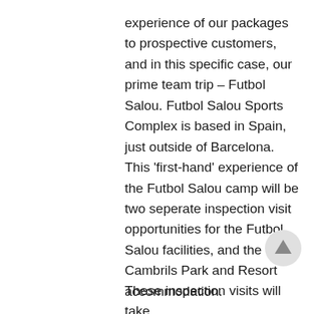experience of our packages to prospective customers, and in this specific case, our prime team trip – Futbol Salou. Futbol Salou Sports Complex is based in Spain, just outside of Barcelona. This 'first-hand' experience of the Futbol Salou camp will be two seperate inspection visit opportunities for the Futbol Salou facilities, and the Cambrils Park and Resort accommodation.
These inspection visits will take